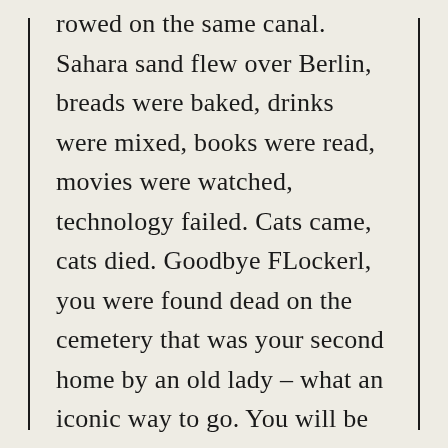rowed on the same canal. Sahara sand flew over Berlin, breads were baked, drinks were mixed, books were read, movies were watched, technology failed. Cats came, cats died. Goodbye FLockerl, you were found dead on the cemetery that was your second home by an old lady – what an iconic way to go. You will be dearly remembered …